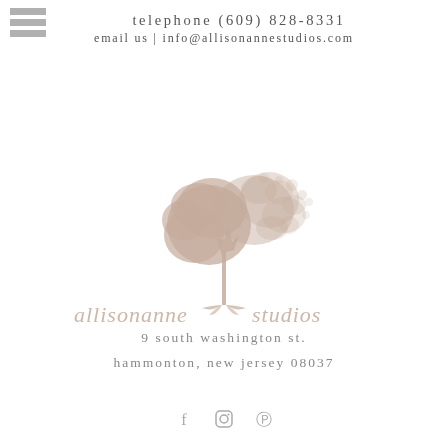telephone (609) 828-8331
email us | info@allisonannestudios.com
[Figure (logo): Allisonanne Studios logo: a tree illustration in taupe/beige color with script text 'allisonanne studios' below]
9 south washington st.
hammonton, new jersey 08037
[Figure (other): Social media icons: Facebook (f), Instagram (camera), Pinterest (p)]